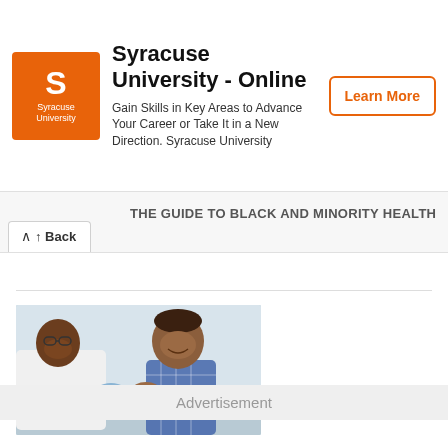[Figure (infographic): Syracuse University Online advertisement banner with orange SU logo, 'Learn More' button, and text about gaining skills in key areas.]
THE GUIDE TO BLACK AND MINORITY HEALTH AND WELL-BEING
[Figure (photo): Photo of a smiling Black female healthcare professional in a white lab coat and blue latex gloves administering a vaccine injection to a smiling young toddler in a blue plaid shirt.]
Advertisement